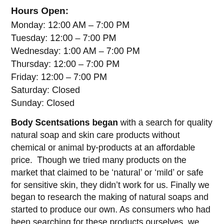Hours Open:
Monday: 12:00 AM – 7:00 PM
Tuesday: 12:00 – 7:00 PM
Wednesday: 1:00 AM – 7:00 PM
Thursday: 12:00 – 7:00 PM
Friday: 12:00 – 7:00 PM
Saturday: Closed
Sunday: Closed
Body Scentsations began with a search for quality natural soap and skin care products without chemical or animal by-products at an affordable price.  Though we tried many products on the market that claimed to be ‘natural’ or ‘mild’ or safe for sensitive skin, they didn’t work for us. Finally we began to research the making of natural soaps and started to produce our own. As consumers who had been searching for these products ourselves, we realized we were in an excellent position to offer what so many other people are searching for, namely, the best natural, affordable products.